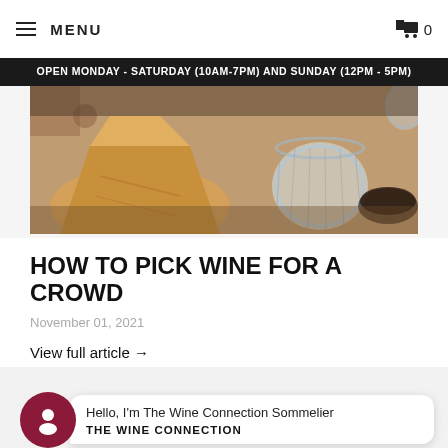MENU | cart 0
OPEN MONDAY - SATURDAY (10AM-7PM) AND SUNDAY (12PM - 5PM)
[Figure (photo): Food and wine flat lay with cheese, crackers, and crystal glassware on a wooden board]
HOW TO PICK WINE FOR A CROWD
November 01, 2021
View full article →
Hello, I'm The Wine Connection Sommelier
THE WINE CONNECTION